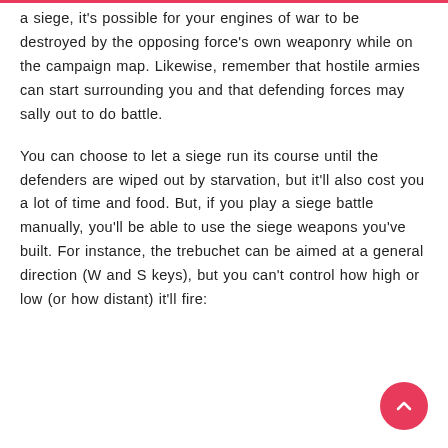a siege, it's possible for your engines of war to be destroyed by the opposing force's own weaponry while on the campaign map. Likewise, remember that hostile armies can start surrounding you and that defending forces may sally out to do battle.
You can choose to let a siege run its course until the defenders are wiped out by starvation, but it'll also cost you a lot of time and food. But, if you play a siege battle manually, you'll be able to use the siege weapons you've built. For instance, the trebuchet can be aimed at a general direction (W and S keys), but you can't control how high or low (or how distant) it'll fire: